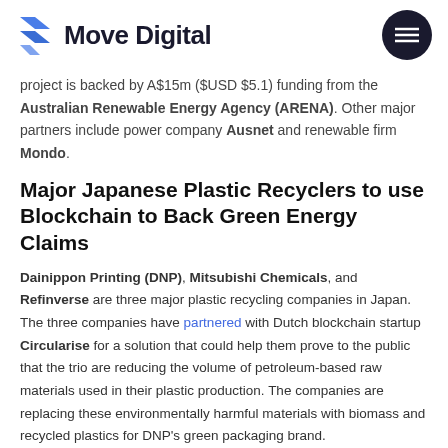Move Digital
project is backed by A$15m ($USD $5.1) funding from the Australian Renewable Energy Agency (ARENA). Other major partners include power company Ausnet and renewable firm Mondo.
Major Japanese Plastic Recyclers to use Blockchain to Back Green Energy Claims
Dainippon Printing (DNP), Mitsubishi Chemicals, and Refinverse are three major plastic recycling companies in Japan. The three companies have partnered with Dutch blockchain startup Circularise for a solution that could help them prove to the public that the trio are reducing the volume of petroleum-based raw materials used in their plastic production. The companies are replacing these environmentally harmful materials with biomass and recycled plastics for DNP's green packaging brand.
Circularise's blockchain solution features a Smart Questioning technology that will allow buyers to query data regarding the plastics